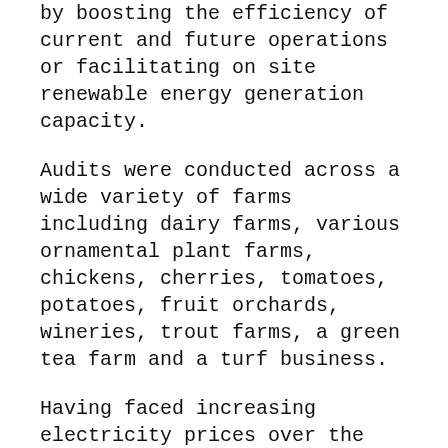by boosting the efficiency of current and future operations or facilitating on site renewable energy generation capacity.
Audits were conducted across a wide variety of farms including dairy farms, various ornamental plant farms, chickens, cherries, tomatoes, potatoes, fruit orchards, wineries, trout farms, a green tea farm and a turf business.
Having faced increasing electricity prices over the past 20 years, many farmers are already experts at keeping their operations efficient in order to extract the most economical returns. It is in the more complex areas of equipment and controls upgrades, renewable energy, waste to energy, energy recovery and process optimisation on which they